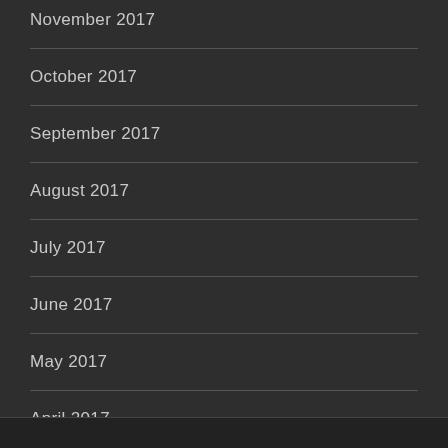November 2017
October 2017
September 2017
August 2017
July 2017
June 2017
May 2017
April 2017